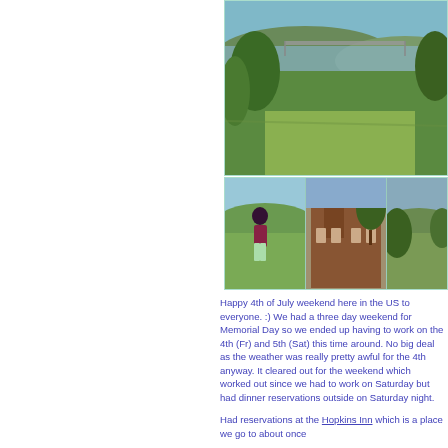[Figure (photo): Top photo: landscape view showing a bridge over a river with green hills and trees]
[Figure (photo): Bottom-left: person standing outdoors on green hillside with scenic view behind]
[Figure (photo): Bottom-middle: historic brick building with tower/steeple, architectural detail]
[Figure (photo): Bottom-right: green hillside landscape view]
Happy 4th of July weekend here in the US to everyone. :) We had a three day weekend for Memorial Day so we ended up having to work on the 4th (Fr) and 5th (Sat) this time around. No big deal as the weather was really pretty awful for the 4th anyway. It cleared out for the weekend which worked out since we had to work on Saturday but had dinner reservations outside on Saturday night.
Had reservations at the Hopkins Inn which is a place we go to about once